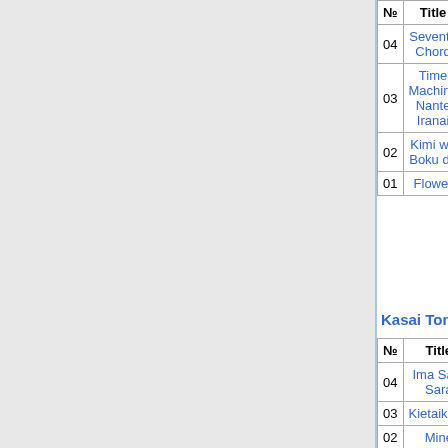| № | Title | * | Weeks | Peak | * | Tue | W |
| --- | --- | --- | --- | --- | --- | --- | --- |
| 04 | Seventh Chord | * | 9 | 4 | * | ***,*** | * |
| 03 | Time Machine Nante Iranai | * | 10 | 2 | * | *28,137 | *1 |
| 02 | Kimi wa Boku da | * | 15 | 2 | * | *65,635 | *2 |
| 01 | Flower | * | 26 | 1 | * | 102,483 | *2 |
Kasai Tomomi
| № | Title | * | Weeks | Peak | * | Tue |
| --- | --- | --- | --- | --- | --- | --- |
| 04 | Ima Sara Sara | * | 4 | 12 | * | ***,*** |
| 03 | Kietaikurai | * | 4 | 5 | * | ***,*** |
| 02 | Mine | * | 7 | 5 | * | **8,534 |